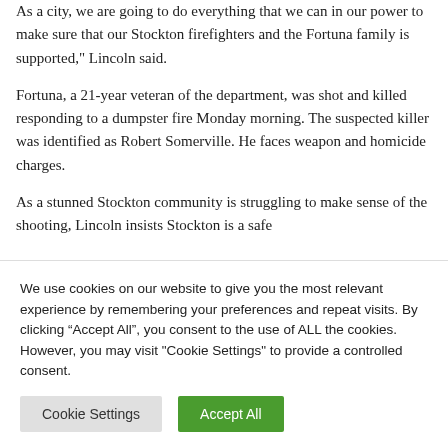As a city, we are going to do everything that we can in our power to make sure that our Stockton firefighters and the Fortuna family is supported," Lincoln said.
Fortuna, a 21-year veteran of the department, was shot and killed responding to a dumpster fire Monday morning. The suspected killer was identified as Robert Somerville. He faces weapon and homicide charges.
As a stunned Stockton community is struggling to make sense of the shooting, Lincoln insists Stockton is a safe
We use cookies on our website to give you the most relevant experience by remembering your preferences and repeat visits. By clicking “Accept All”, you consent to the use of ALL the cookies. However, you may visit "Cookie Settings" to provide a controlled consent.